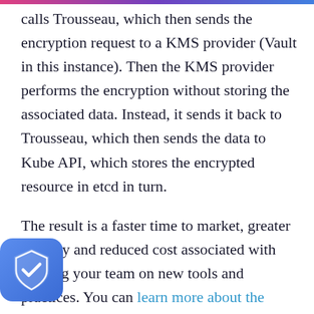calls Trousseau, which then sends the encryption request to a KMS provider (Vault in this instance). Then the KMS provider performs the encryption without storing the associated data. Instead, it sends it back to Trousseau, which then sends the data to Kube API, which stores the encrypted resource in etcd in turn.
The result is a faster time to market, greater security and reduced cost associated with training your team on new tools and practices. You can learn more about the Trousseau project here, as well as a hands-on lab that walks you through setting up Trousseau with Vault and Kubernetes, and receive information on how to join the open source project.
[Figure (logo): Shield icon with checkmark, blue gradient background]